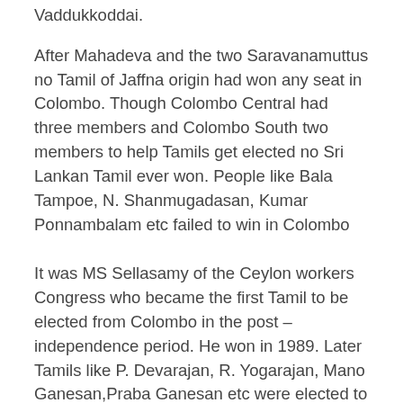Vaddukkoddai.
After Mahadeva and the two Saravanamuttus no Tamil of Jaffna origin had won any seat in Colombo. Though Colombo Central had three members and Colombo South two members to help Tamils get elected no Sri Lankan Tamil ever won. People like Bala Tampoe, N. Shanmugadasan, Kumar Ponnambalam etc failed to win in Colombo
It was MS Sellasamy of the Ceylon workers Congress who became the first Tamil to be elected from Colombo in the post – independence period. He won in 1989. Later Tamils like P. Devarajan, R. Yogarajan, Mano Ganesan,Praba Ganesan etc were elected to Parliament from Colombo. They were all of Indian origin.
When Thiagarajah Maheswaran won in the election of April 2nd 2004 he became the first Jaffna Tamil to be elected to